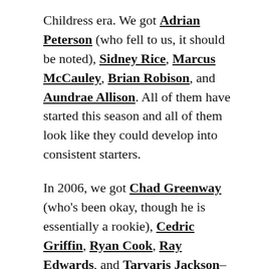Childress era. We got Adrian Peterson (who fell to us, it should be noted), Sidney Rice, Marcus McCauley, Brian Robison, and Aundrae Allison. All of them have started this season and all of them look like they could develop into consistent starters.
In 2006, we got Chad Greenway (who's been okay, though he is essentially a rookie), Cedric Griffin, Ryan Cook, Ray Edwards, and Tarvaris Jackson–all starters.
But it is Jackson who is the exception to our generally exceptional drafts. During the 2006 draft, Childress moved up by trading two third round picks to position the team to reach deep into the sixth round and pick Jackson with the 64th overall pick of the draft. No